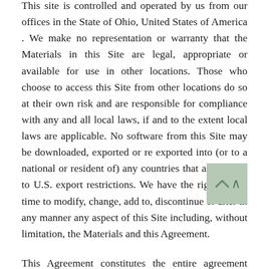This site is controlled and operated by us from our offices in the State of Ohio, United States of America . We make no representation or warranty that the Materials in this Site are legal, appropriate or available for use in other locations. Those who choose to access this Site from other locations do so at their own risk and are responsible for compliance with any and all local laws, if and to the extent local laws are applicable. No software from this Site may be downloaded, exported or re exported into (or to a national or resident of) any countries that are subject to U.S. export restrictions. We have the right at any time to modify, change, add to, discontinue or alter in any manner any aspect of this Site including, without limitation, the Materials and this Agreement.
This Agreement constitutes the entire agreement between the parties with respect to the subject matter hereof and supersedes all previous written or oral agreements between